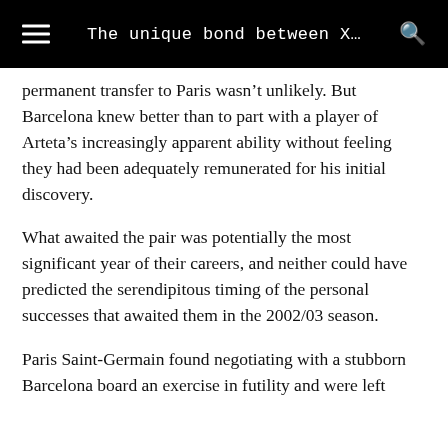The unique bond between X…
permanent transfer to Paris wasn't unlikely. But Barcelona knew better than to part with a player of Arteta's increasingly apparent ability without feeling they had been adequately remunerated for his initial discovery.
What awaited the pair was potentially the most significant year of their careers, and neither could have predicted the serendipitous timing of the personal successes that awaited them in the 2002/03 season.
Paris Saint-Germain found negotiating with a stubborn Barcelona board an exercise in futility and were left